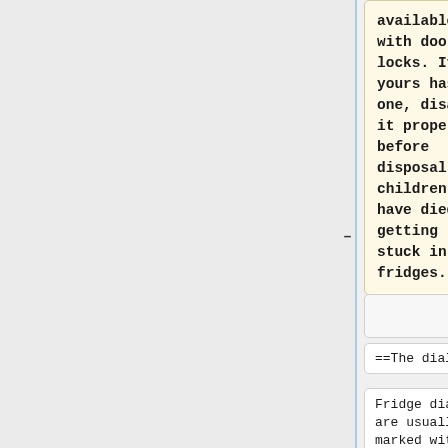available with door locks. If yours has one, disable it properly before disposal, children have died getting stuck in fridges.
==The dial==
Fridge dials are usually marked with numbers
==The dial==
Fridge dials are usually marked with numbers